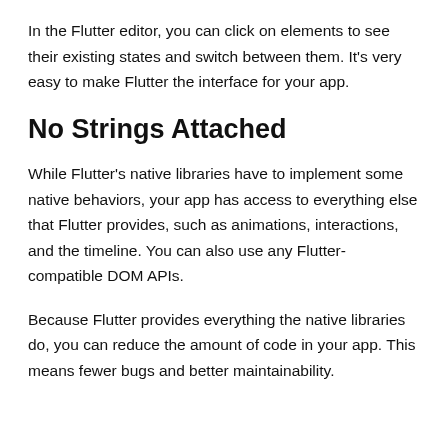In the Flutter editor, you can click on elements to see their existing states and switch between them. It’s very easy to make Flutter the interface for your app.
No Strings Attached
While Flutter’s native libraries have to implement some native behaviors, your app has access to everything else that Flutter provides, such as animations, interactions, and the timeline. You can also use any Flutter-compatible DOM APIs.
Because Flutter provides everything the native libraries do, you can reduce the amount of code in your app. This means fewer bugs and better maintainability.